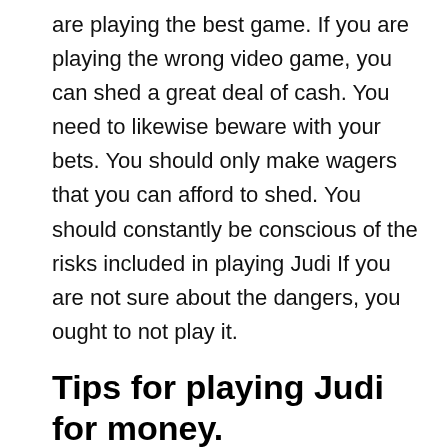are playing the best game. If you are playing the wrong video game, you can shed a great deal of cash. You need to likewise beware with your bets. You should only make wagers that you can afford to shed. You should constantly be conscious of the risks included in playing Judi If you are not sure about the dangers, you ought to not play it.
Tips for playing Judi for money.
Playing judi online can be a rewarding game. Several people believe that it is one of the ideal ways to make money. Many people start out by betting a couple of bucks a day as well as slowly increase their having fun hours. You can additionally make money by playing in